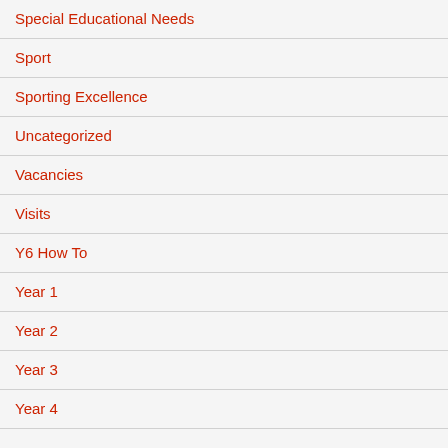Special Educational Needs
Sport
Sporting Excellence
Uncategorized
Vacancies
Visits
Y6 How To
Year 1
Year 2
Year 3
Year 4